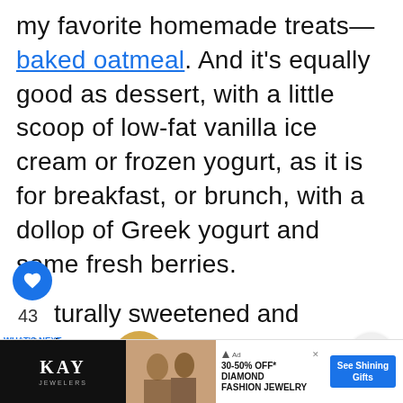my favorite homemade treats—baked oatmeal. And it's equally good as dessert, with a little scoop of low-fat vanilla ice cream or frozen yogurt, as it is for breakfast, or brunch, with a dollop of Greek yogurt and some fresh berries.
43
turally sweetened and low calorie, this banana cake bakes up dense and moist. And because you cook it in an Instant Pot, you don't
[Figure (screenshot): UI elements: heart/like button (blue circle), share button, scroll-up button, search button (blue circle), WHAT'S NEXT label, Skinny Easy Orange... next article preview with food thumbnail]
[Figure (advertisement): KAY Jewelers ad banner: 30-50% OFF* DIAMOND FASHION JEWELRY with See Shining Gifts button]